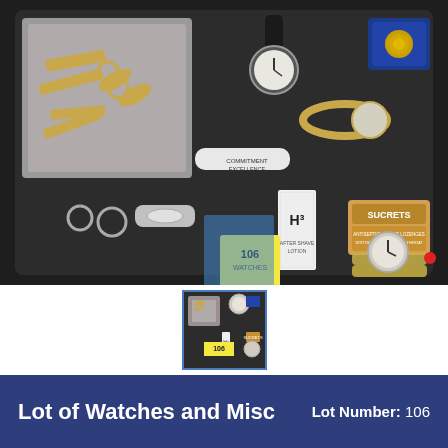[Figure (photo): A tray containing various miscellaneous items including gold-toned manicure/grooming kit in a case, scissors, a pocket knife with 'Commitment Excellence' text, watches (one analog wristwatch with black strap, one with gold bracelet, one with silver/gold bracelet), a blue velvet jewelry box with a pin/medallion, a Sucrets antiseptic throat lozenge tin, an H3 After Shave Lotion box, a yellow auction tag numbered 106, a blue tape square, rings, and a bottle opener.]
[Figure (photo): Small thumbnail image of the same tray of watches and miscellaneous items.]
Lot of Watches and Misc
Lot Number: 106